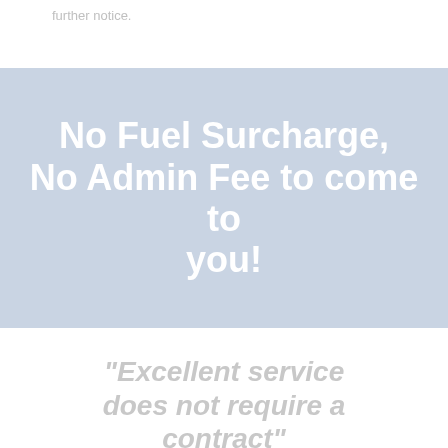further notice.
No Fuel Surcharge, No Admin Fee to come to you!
“Excellent service does not require a contract”